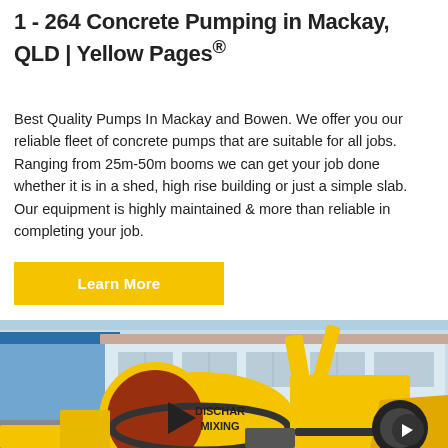1 - 264 Concrete Pumping in Mackay, QLD | Yellow Pages®
Best Quality Pumps In Mackay and Bowen. We offer you our reliable fleet of concrete pumps that are suitable for all jobs. Ranging from 25m-50m booms we can get your job done whether it is in a shed, high rise building or just a simple slab. Our equipment is highly maintained & more than reliable in completing your job.
Learn More
[Figure (photo): Yellow concrete pump mixer truck (DISCHAR MIXING labeled) parked in front of a light blue building with windows, photographed outdoors.]